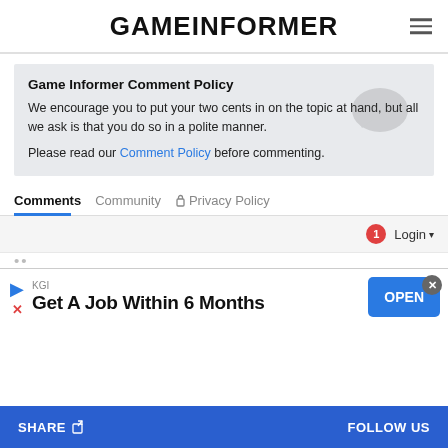GAMEINFORMER
Game Informer Comment Policy
We encourage you to put your two cents in on the topic at hand, but all we ask is that you do so in a polite manner.
Please read our Comment Policy before commenting.
Comments  Community  🔒 Privacy Policy
1  Login
KGI
Get A Job Within 6 Months
OPEN
SHARE  FOLLOW US